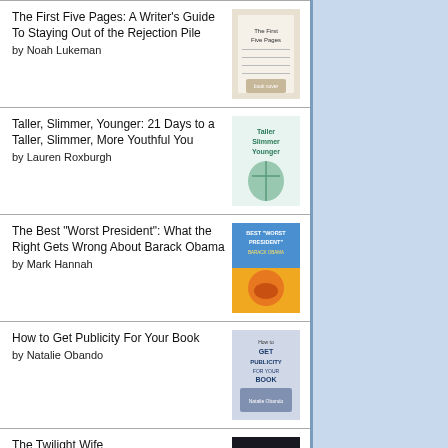The First Five Pages: A Writer's Guide To Staying Out of the Rejection Pile by Noah Lukeman
Taller, Slimmer, Younger: 21 Days to a Taller, Slimmer, More Youthful You by Lauren Roxburgh
The Best "Worst President": What the Right Gets Wrong About Barack Obama by Mark Hannah
How to Get Publicity For Your Book by Natalie Obando
The Twilight Wife by A.J. Banner
Tell Me No Lies by A.V. Geiger